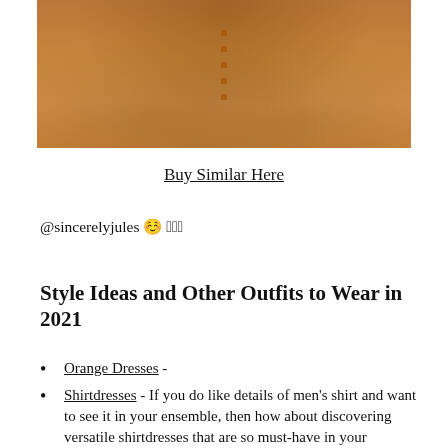[Figure (photo): Cropped photo of a person wearing an orange button-up shirt/dress, showing torso and arms with bracelets, against a grey background.]
Buy Similar Here
@sincerelyjules 😊🏼🏼🏼
Style Ideas and Other Outfits to Wear in 2021
Orange Dresses -
Shirtdresses - If you do like details of men's shirt and want to see it in your ensemble, then how about discovering versatile shirtdresses that are so must-have in your wardrobe.
Straw Hats - Looking for something to cover your